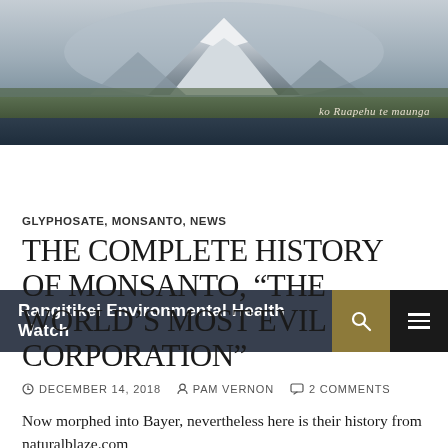[Figure (photo): Mountain landscape photo showing a snow-capped peak (Mt Ruapehu) in the background with green fields in the foreground under a grey-blue sky, used as the website header banner.]
Rangitikei Environmental Health Watch
GLYPHOSATE, MONSANTO, NEWS
THE COMPLETE HISTORY OF MONSANTO, “THE WORLD’S MOST EVIL CORPORATION”
DECEMBER 14, 2018  PAM VERNON  2 COMMENTS
Now morphed into Bayer, nevertheless here is their history from naturalblaze.com